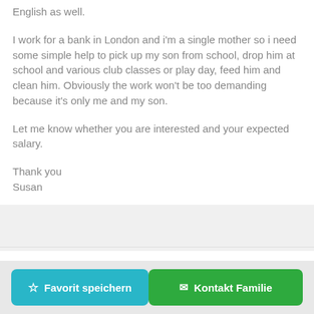English as well.
I work for a bank in London and i'm a single mother so i need some simple help to pick up my son from school, drop him at school and various club classes or play day, feed him and clean him. Obviously the work won't be too demanding because it's only me and my son.
Let me know whether you are interested and your expected salary.
Thank you
Susan
JOB
☆ Favorit speichern
✉ Kontakt Familie